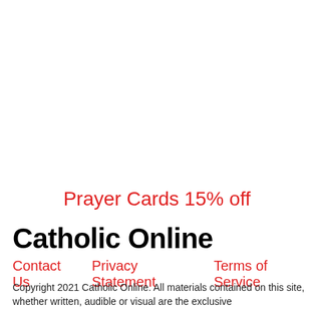Prayer Cards 15% off
Catholic Online
Contact Us   Privacy Statement   Terms of Service
Copyright 2021 Catholic Online. All materials contained on this site, whether written, audible or visual are the exclusive